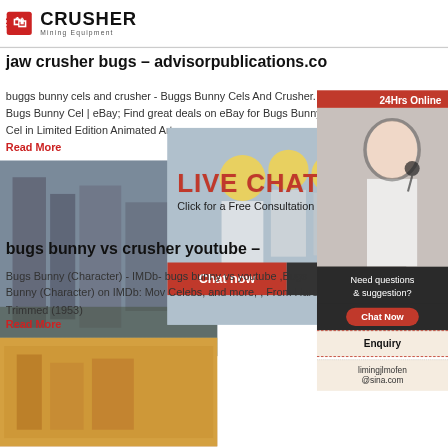[Figure (logo): Crusher Mining Equipment logo with red shopping bag icon and bold text]
jaw crusher bugs - advisorpublications.co
buggs bunny cels and crusher - Buggs Bunny Cels And Crusher. Bugs Bunny Cel | eBay; Find great deals on eBay for Bugs Bunny Cel in Limited Edition Animated Art
Read More
[Figure (photo): Live Chat popup overlay with workers in hard hats, LIVE CHAT heading, Chat now and Chat later buttons, 24Hrs Online banner]
[Figure (photo): Industrial crusher equipment photo]
bugs bunny vs crusher youtube -
Bugs Bunny (Character) - IMDb- bugs bunny vs youtube ,Bugs Bunny (Character) on IMDb: Mov Celebs, and more, , From Hare Trimmed (1953)
Read More
[Figure (photo): Bottom image of equipment]
[Figure (infographic): Right sidebar: 24Hrs Online banner, headset woman photo, Need questions & suggestion?, Chat Now button, Enquiry link, limingjlmofen@sina.com email]